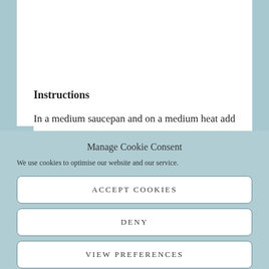Instructions
In a medium saucepan and on a medium heat add
Manage Cookie Consent
We use cookies to optimise our website and our service.
ACCEPT COOKIES
DENY
VIEW PREFERENCES